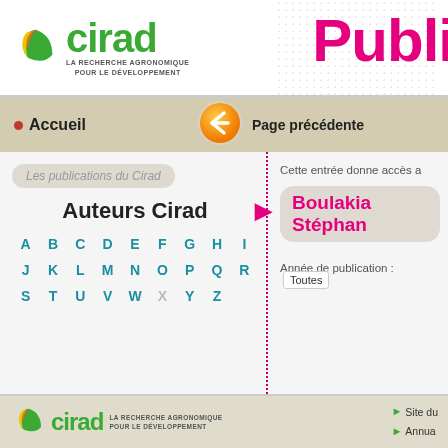[Figure (logo): CIRAD logo with leaf graphic and text 'cirad' in green, tagline 'LA RECHERCHE AGRONOMIQUE POUR LE DÉVELOPPEMENT']
Publi
Accueil
Page précédente
Les publications du Cirad
Auteurs Cirad
A B C D E F G H I
J K L M N O P Q R
S T U V W X Y Z
Cette entrée donne accès a
Boulakia Stéphan
Année de publication : Toutes
[Figure (logo): CIRAD footer logo with leaf graphic, tagline 'LA RECHERCHE AGRONOMIQUE POUR LE DÉVELOPPEMENT', and links 'Site du' and 'Annua']